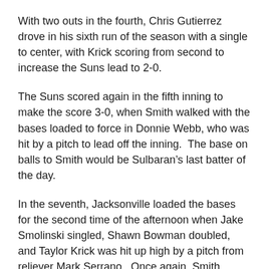With two outs in the fourth, Chris Gutierrez drove in his sixth run of the season with a single to center, with Krick scoring from second to increase the Suns lead to 2-0.
The Suns scored again in the fifth inning to make the score 3-0, when Smith walked with the bases loaded to force in Donnie Webb, who was hit by a pitch to lead off the inning.  The base on balls to Smith would be Sulbaran’s last batter of the day.
In the seventh, Jacksonville loaded the bases for the second time of the afternoon when Jake Smolinski singled, Shawn Bowman doubled, and Taylor Krick was hit up high by a pitch from reliever Mark Serrano.  Once again, Smith plated a run with a sacrifice fly and the Suns were cruising along with a 4-0 advantage.